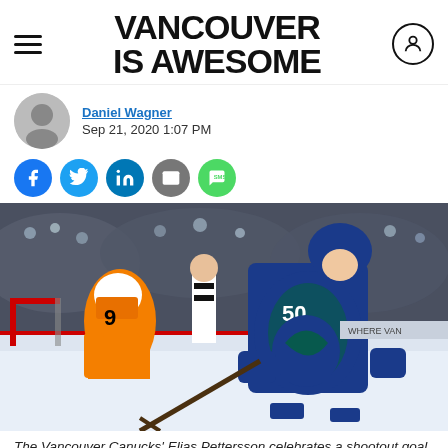Vancouver Is Awesome
Daniel Wagner
Sep 21, 2020 1:07 PM
[Figure (other): Social sharing buttons: Facebook, Twitter, LinkedIn, Email, SMS]
[Figure (photo): The Vancouver Canucks' Elias Pettersson celebrates a shootout goal against Carter Hart of the Philadelphia Flyers, wearing a blue Canucks jersey with number 50.]
The Vancouver Canucks' Elias Pettersson celebrates a shootout goal against Carter Hart of the Philadelphia Flyers. photo: Ben